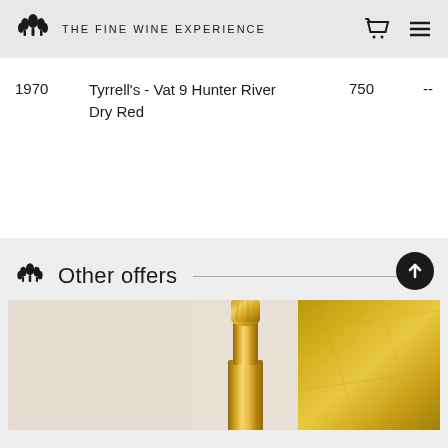THE FINE WINE EXPERIENCE
| Year | Name | Volume | Price |
| --- | --- | --- | --- |
| 1970 | Tyrrell's - Vat 9 Hunter River Dry Red | 750 | -- |
Other offers
[Figure (photo): Champagne bottle with gold foil cap and gold metallic background]